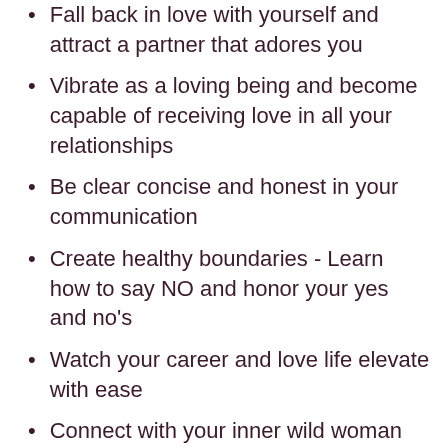Fall back in love with yourself and attract a partner that adores you
Vibrate as a loving being and become capable of receiving love in all your relationships
Be clear concise and honest in your communication
Create healthy boundaries - Learn how to say NO and honor your yes and no's
Watch your career and love life elevate with ease
Connect with your inner wild woman
Create DEEP intimacy and meaning in your personal relationships
End the drama cycles and